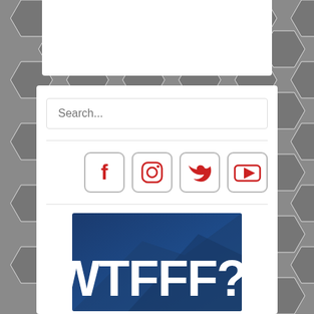[Figure (screenshot): Search bar with placeholder text 'Search...']
[Figure (infographic): Four social media icons: Facebook, Instagram, Twitter, YouTube in hexagonal gray buttons with red icons]
[Figure (photo): Dark blue banner with bold white text reading 'WTFFF?!' - partial view at bottom of page]